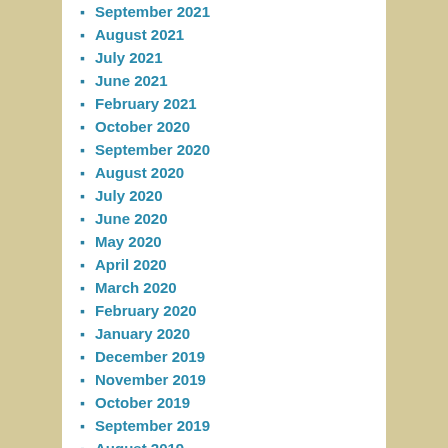September 2021
August 2021
July 2021
June 2021
February 2021
October 2020
September 2020
August 2020
July 2020
June 2020
May 2020
April 2020
March 2020
February 2020
January 2020
December 2019
November 2019
October 2019
September 2019
August 2019
July 2019